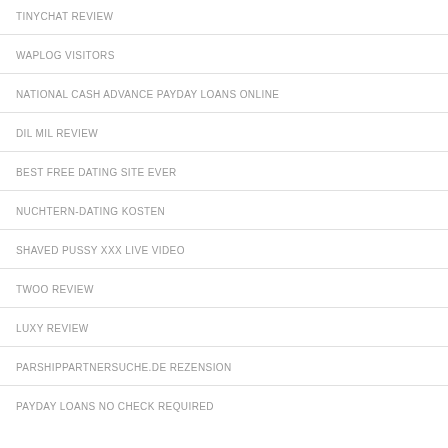TINYCHAT REVIEW
WAPLOG VISITORS
NATIONAL CASH ADVANCE PAYDAY LOANS ONLINE
DIL MIL REVIEW
BEST FREE DATING SITE EVER
NUCHTERN-DATING KOSTEN
SHAVED PUSSY XXX LIVE VIDEO
TWOO REVIEW
LUXY REVIEW
PARSHIPPARTNERSUCHE.DE REZENSION
PAYDAY LOANS NO CHECK REQUIRED